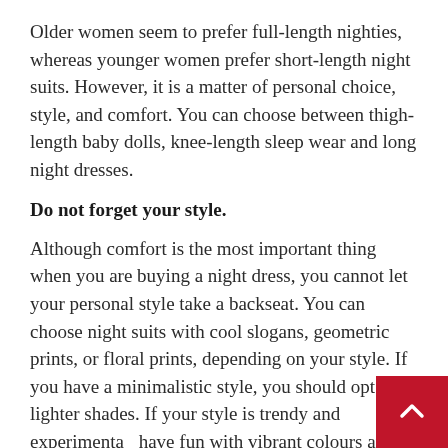Older women seem to prefer full-length nighties, whereas younger women prefer short-length night suits. However, it is a matter of personal choice, style, and comfort. You can choose between thigh-length baby dolls, knee-length sleep wear and long night dresses.
Do not forget your style.
Although comfort is the most important thing when you are buying a night dress, you cannot let your personal style take a backseat. You can choose night suits with cool slogans, geometric prints, or floral prints, depending on your style. If you have a minimalistic style, you should opt for lighter shades. If your style is trendy and experimental, have fun with vibrant colours and bold prints.